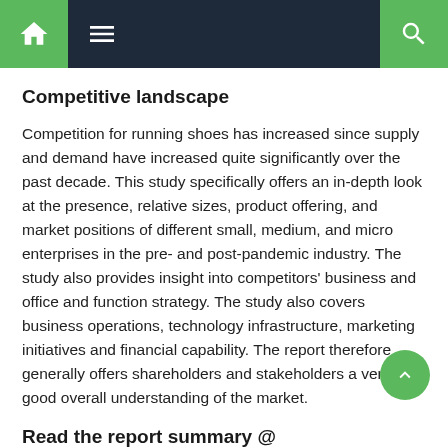Navigation bar with home, menu, and search icons
Competitive landscape
Competition for running shoes has increased since supply and demand have increased quite significantly over the past decade. This study specifically offers an in-depth look at the presence, relative sizes, product offering, and market positions of different small, medium, and micro enterprises in the pre- and post-pandemic industry. The study also provides insight into competitors' business and office and function strategy. The study also covers business operations, technology infrastructure, marketing initiatives and financial capability. The report therefore generally offers shareholders and stakeholders a very good overall understanding of the market.
Read the report summary @